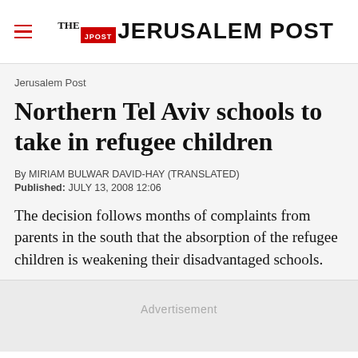THE JERUSALEM POST
Jerusalem Post
Northern Tel Aviv schools to take in refugee children
By MIRIAM BULWAR DAVID-HAY (TRANSLATED)
Published: JULY 13, 2008 12:06
The decision follows months of complaints from parents in the south that the absorption of the refugee children is weakening their disadvantaged schools.
Advertisement